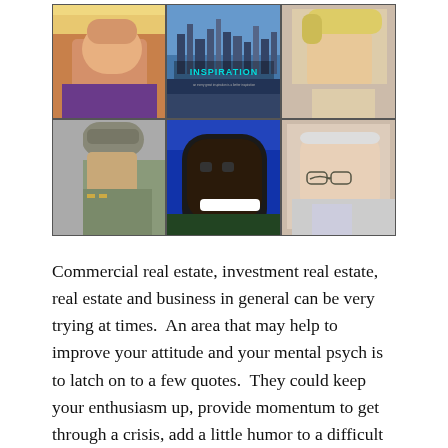[Figure (photo): A 2x3 photo collage grid showing six famous people including Walt Disney (top left), an INSPIRATION motivational poster with cityscape (top center), a blond man smiling (top right), a military general in uniform (bottom left), a smiling Black man (bottom center), and an older man with glasses (bottom right).]
Commercial real estate, investment real estate, real estate and business in general can be very trying at times.  An area that may help to improve your attitude and your mental psych is to latch on to a few quotes.  They could keep your enthusiasm up, provide momentum to get through a crisis, add a little humor to a difficult situation, use to close the